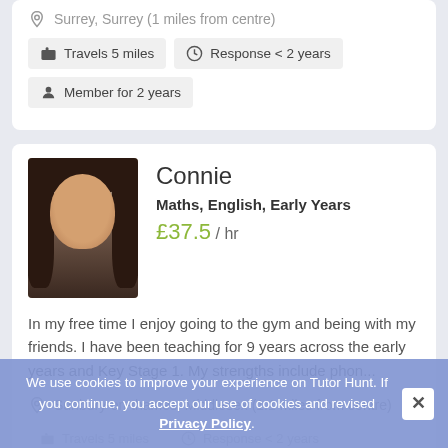Surrey, Surrey (1 miles from centre)
Travels 5 miles
Response < 2 years
Member for 2 years
[Figure (photo): Profile photo of Connie, a woman with long dark hair, smiling]
Connie
Maths, English, Early Years
£37.5 / hr
In my free time I enjoy going to the gym and being with my friends. I have been teaching for 9 years across the early years and Key Stage 1. My strengths include phon...
Sunbury-on-thames, Middlesex (1.1 miles from centre)
We use cookies to improve your experience on Tutor Hunt. If you continue, you accept our use of cookies and revised Privacy Policy.